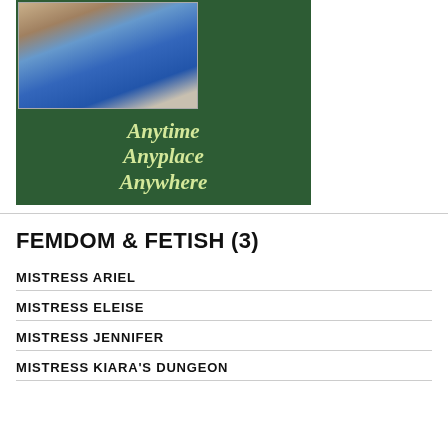[Figure (photo): Book cover with green background showing a person in blue outfit, with text 'Anytime Anyplace Anywhere' in yellow-green italic serif font]
FEMDOM & FETISH (3)
MISTRESS ARIEL
MISTRESS ELEISE
MISTRESS JENNIFER
MISTRESS KIARA'S DUNGEON